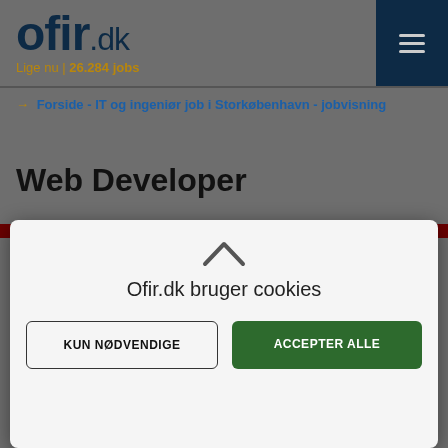ofir.dk — Lige nu | 26.284 jobs
→ Forside - IT og ingeniør job i Storkøbenhavn - jobvisning
Web Developer
Ofir.dk bruger cookies
KUN NØDVENDIGE
ACCEPTER ALLE